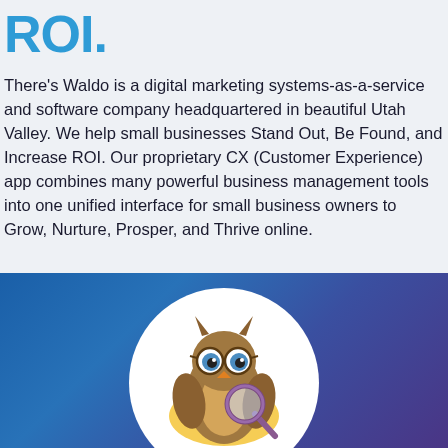ROI.
There's Waldo is a digital marketing systems-as-a-service and software company headquartered in beautiful Utah Valley. We help small businesses Stand Out, Be Found, and Increase ROI. Our proprietary CX (Customer Experience) app combines many powerful business management tools into one unified interface for small business owners to Grow, Nurture, Prosper, and Thrive online.
[Figure (illustration): Blue gradient background section with a white circular badge containing a cartoon owl mascot with glasses and a magnifying glass, representing the There's Waldo brand mascot.]